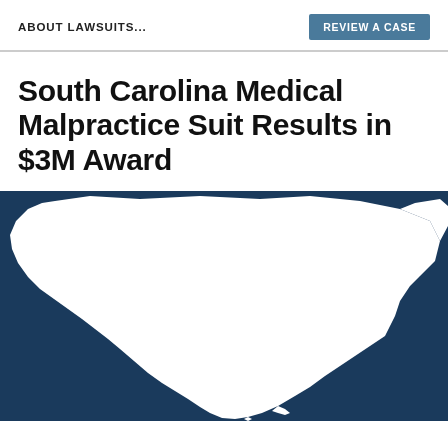ABOUT LAWSUITS...
REVIEW A CASE
South Carolina Medical Malpractice Suit Results in $3M Award
[Figure (map): Silhouette map of South Carolina state outline in white on dark navy blue background]